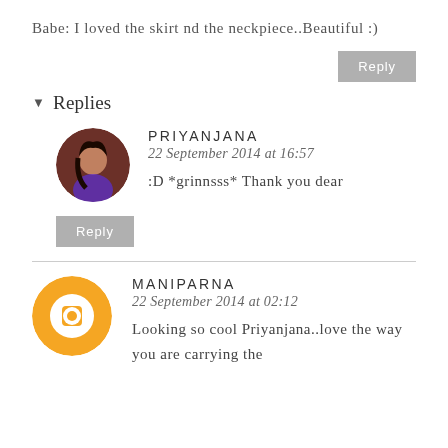Babe: I loved the skirt nd the neckpiece..Beautiful :)
Reply
▾ Replies
PRIYANJANA
22 September 2014 at 16:57
:D *grinnsss* Thank you dear
Reply
MANIPARNA
22 September 2014 at 02:12
Looking so cool Priyanjana..love the way you are carrying the